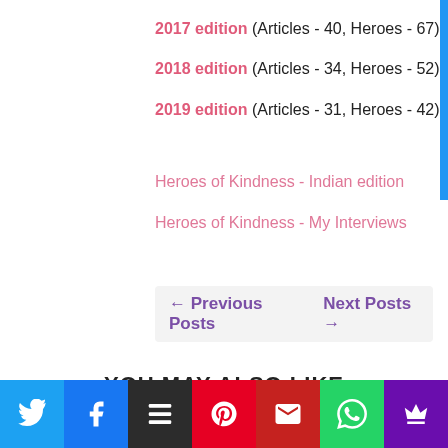2017 edition (Articles - 40, Heroes - 67)
2018 edition (Articles - 34, Heroes - 52)
2019 edition (Articles - 31, Heroes - 42)
Heroes of Kindness - Indian edition
Heroes of Kindness - My Interviews
← Previous Posts    Next Posts →
YOU MAY ALSO LIKE